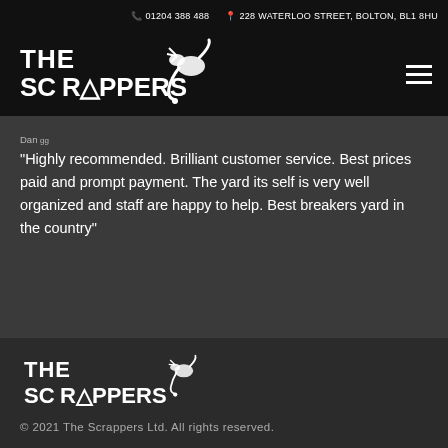01204 388 488   228 WATERLOO STREET, BOLTON, BL1 8HU
Testimonials
[Figure (logo): The Scrappers logo in white on black navigation bar]
"Highly recommended. Brilliant customer service. Best prices paid and prompt payment. The yard its self is very well organized and staff are happy to help. Best breakers yard in the country"
[Figure (logo): The Scrappers footer logo in white on dark background]
© 2021 The Scrappers Ltd. All rights reserved.